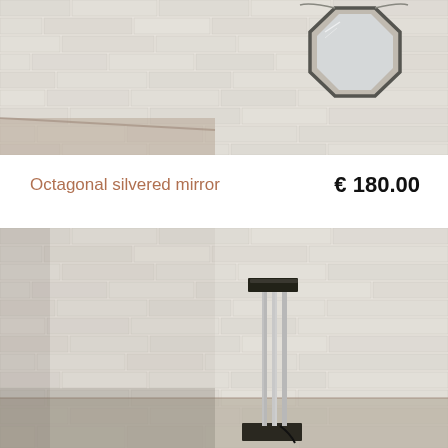[Figure (photo): Octagonal silvered mirror hanging on a white brick wall in a room with concrete floor]
Octagonal silvered mirror   € 180.00
[Figure (photo): Tall floor lamp with chrome cylindrical stand and dark rectangular shade, placed in a room with white painted brick walls and concrete floor]